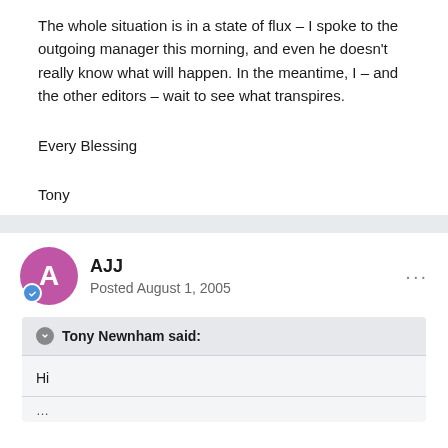The whole situation is in a state of flux – I spoke to the outgoing manager this morning, and even he doesn't really know what will happen. In the meantime, I – and the other editors – wait to see what transpires.
Every Blessing
Tony
AJJ
Posted August 1, 2005
Tony Newnham said:
Hi